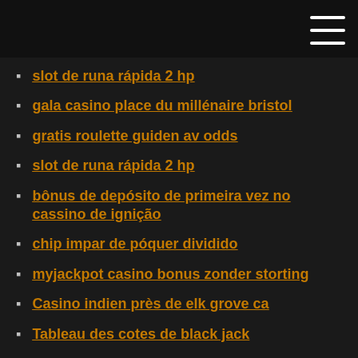slot de runa rápida 2 hp
gala casino place du millénaire bristol
gratis roulette guiden av odds
slot de runa rápida 2 hp
bônus de depósito de primeira vez no cassino de ignição
chip impar de póquer dividido
myjackpot casino bonus zonder storting
Casino indien près de elk grove ca
Tableau des cotes de black jack
Téléchargement gratuit de jeux de machine à sous dimond
Soboba casino san jacinto californie
Kayak fente canyons lac powell